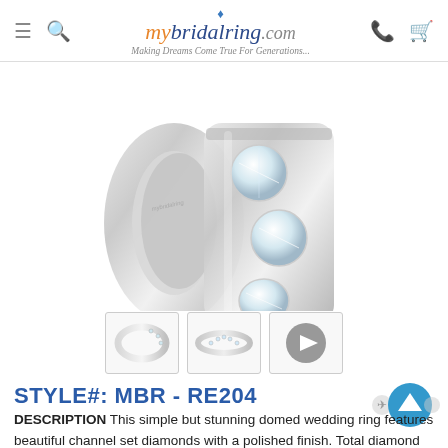mybridalring.com - Making Dreams Come True For Generations...
[Figure (photo): Close-up photo of a domed wedding ring with channel-set diamonds and polished finish, shown at an angle to highlight the diamonds and rounded interior.]
[Figure (photo): Thumbnail 1: Side view of the diamond wedding band.]
[Figure (photo): Thumbnail 2: Top/flat view of the diamond wedding band.]
[Figure (other): Thumbnail 3: Video play button icon.]
STYLE#: MBR - RE204
DESCRIPTION This simple but stunning domed wedding ring features beautiful channel set diamonds with a polished finish. Total diamond weight is 0.49 ct. A rounded interior makes it